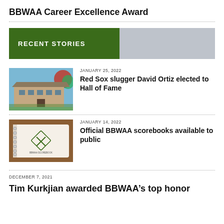BBWAA Career Excellence Award
RECENT STORIES
JANUARY 25, 2022
Red Sox slugger David Ortiz elected to Hall of Fame
JANUARY 14, 2022
Official BBWAA scorebooks available to public
DECEMBER 7, 2021
Tim Kurkjian awarded BBWAA’s top honor